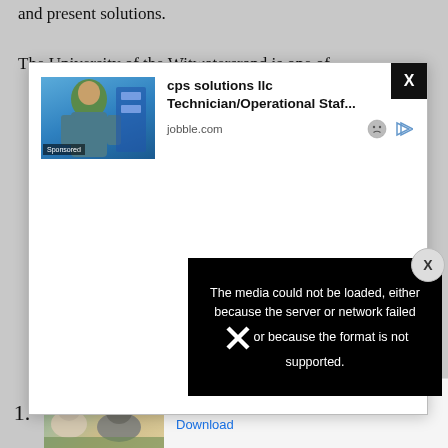and present solutions.
The University of the Witwatersrand is one of
[Figure (screenshot): Advertisement modal popup showing a sponsored job listing from jobble.com for 'cps solutions llc Technician/Operational Staf...' with an image of a person in a lab coat and hijab. Has an X close button in top-right corner.]
[Figure (screenshot): Video player error overlay on black background with text: 'The media could not be loaded, either because the server or network failed or because the format is not supported.' with a large X mark. A circular X close button appears to the right.]
1.
[Figure (screenshot): Bottom advertisement banner showing wolf pack images with text 'Join the wolf pack!' and a 'Download' button link. Has 'Ad' badge.]